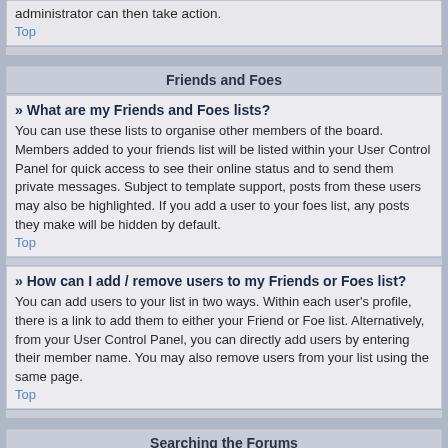administrator can then take action.
Top
Friends and Foes
» What are my Friends and Foes lists?
You can use these lists to organise other members of the board. Members added to your friends list will be listed within your User Control Panel for quick access to see their online status and to send them private messages. Subject to template support, posts from these users may also be highlighted. If you add a user to your foes list, any posts they make will be hidden by default.
Top
» How can I add / remove users to my Friends or Foes list?
You can add users to your list in two ways. Within each user's profile, there is a link to add them to either your Friend or Foe list. Alternatively, from your User Control Panel, you can directly add users by entering their member name. You may also remove users from your list using the same page.
Top
Searching the Forums